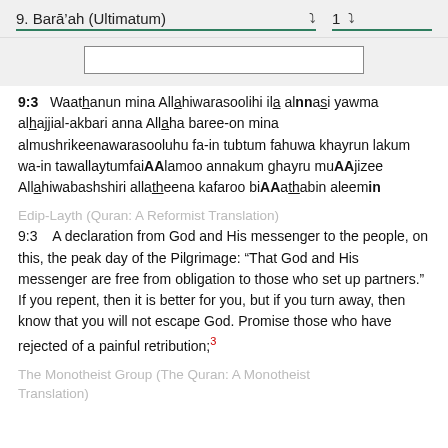9. Barā'ah (Ultimatum)   1
9:3  Waathanun mina Allahiwarasoolihi ila alnnasi yawma alhajjial-akbari anna Allaha baree-on mina almushrikeenawarasooluhu fa-in tubtum fahuwa khayrun lakum wa-in tawallaytumfaiAAlamoo annakum ghayru muAAjizee Allahiwabashshiri allatheena kafaroo biAAathabin aleemin
Edip-Layth (Quran: A Reformist Translation)
9:3  A declaration from God and His messenger to the people, on this, the peak day of the Pilgrimage: "That God and His messenger are free from obligation to those who set up partners." If you repent, then it is better for you, but if you turn away, then know that you will not escape God. Promise those who have rejected of a painful retribution;3
The Monotheist Group (The Quran: A Monotheist Translation)